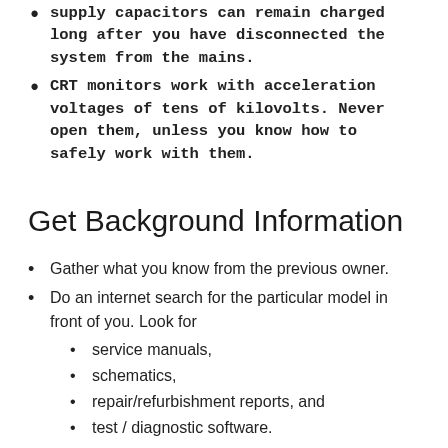supply capacitors can remain charged long after you have disconnected the system from the mains.
CRT monitors work with acceleration voltages of tens of kilovolts. Never open them, unless you know how to safely work with them.
Get Background Information
Gather what you know from the previous owner.
Do an internet search for the particular model in front of you. Look for
service manuals,
schematics,
repair/refurbishment reports, and
test / diagnostic software.